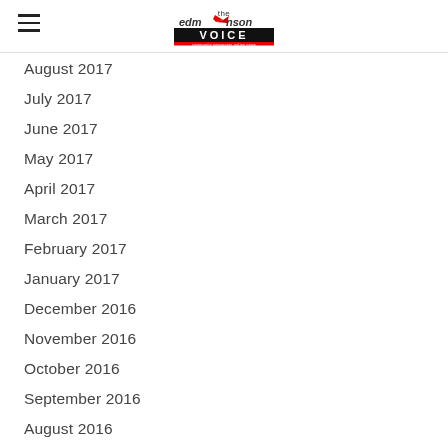The Edmonson Voice
August 2017
July 2017
June 2017
May 2017
April 2017
March 2017
February 2017
January 2017
December 2016
November 2016
October 2016
September 2016
August 2016
July 2016
June 2016
May 2016
April 2016
March 2016